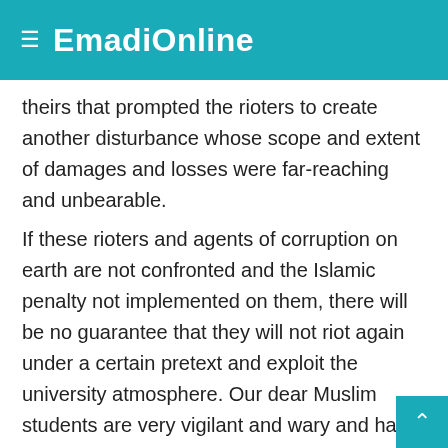EmadiOnline
theirs that prompted the rioters to create another disturbance whose scope and extent of damages and losses were far-reaching and unbearable.
If these rioters and agents of corruption on earth are not confronted and the Islamic penalty not implemented on them, there will be no guarantee that they will not riot again under a certain pretext and exploit the university atmosphere. Our dear Muslim students are very vigilant and wary and had no hand in the riots and disturbances. But there are those who exploit the honest feelings of the students and prepare the ground for another riot.
So, if rioters are not dealt with decisively, and in the words